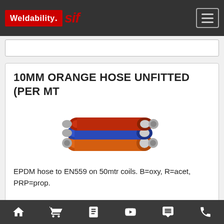Weldability Sif
10MM ORANGE HOSE UNFITTED (PER MT
[Figure (photo): Three stacked hoses in orange, blue, and red colors, shown as rolled/coiled segments with metallic ends]
EPDM hose to EN559 on 50mtr coils. B=oxy, R=acet, PRP=prop.
View Full Details